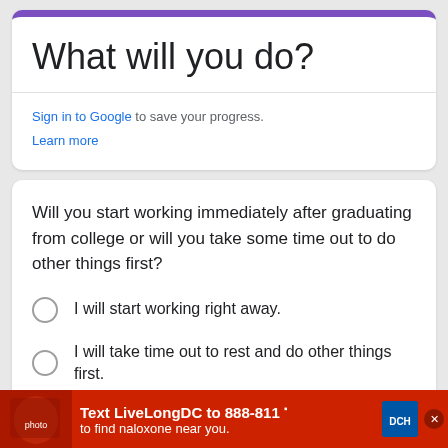What will you do?
Sign in to Google to save your progress.
Learn more
Will you start working immediately after graduating from college or will you take some time out to do other things first?
I will start working right away.
I will take time out to rest and do other things first.
[Figure (screenshot): Advertisement banner: red background with 'Text LiveLongDC to 888-811 to find naloxone near you.' with logos and close button.]